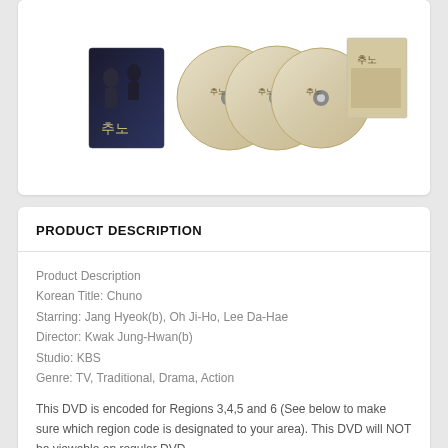[Figure (photo): Korean drama DVD box set 'Chuno' showing multiple discs, a booklet, and packaging with Korean characters and dark dramatic imagery of characters]
PRODUCT DESCRIPTION
Product Description
Korean Title: Chuno
Starring: Jang Hyeok(b), Oh Ji-Ho, Lee Da-Hae
Director: Kwak Jung-Hwan(b)
Studio: KBS
Genre: TV, Traditional, Drama, Action
This DVD is encoded for Regions 3,4,5 and 6 (See below to make sure which region code is designated to your area). This DVD will NOT be viewable on regular DVD